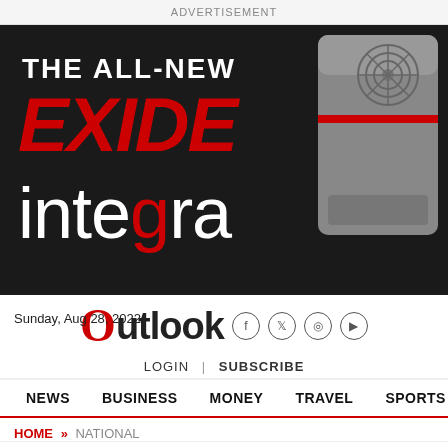ADVERTISEMENT
[Figure (illustration): Exide Integra advertisement banner on dark background showing product device on right side. Text reads: THE ALL-NEW EXIDE integra]
Sunday, Aug 28, 2022
Outlook
LOGIN | SUBSCRIBE
NEWS  BUSINESS  MONEY  TRAVEL  SPORTS  VIDEOS
HOME » NATIONAL